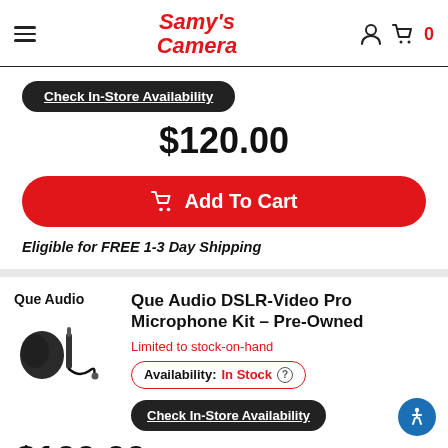Samy's Camera
Check In-Store Availability
$120.00
Add To Cart
Eligible for FREE 1-3 Day Shipping
Que Audio
Que Audio DSLR-Video Pro Microphone Kit – Pre-Owned
Limited to stock-on-hand
Availability: In Stock
Check In-Store Availability
$100.00